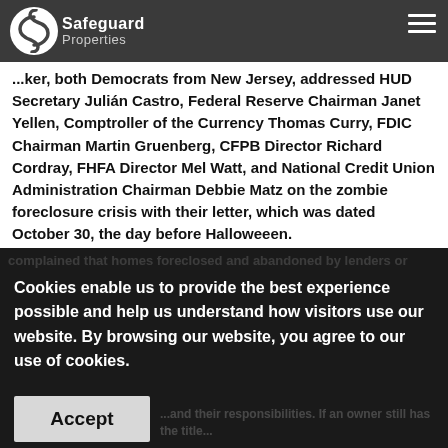[Figure (logo): Safeguard Properties logo with circular S emblem and company name]
...ker, both Democrats from New Jersey, addressed HUD Secretary Julián Castro, Federal Reserve Chairman Janet Yellen, Comptroller of the Currency Thomas Curry, FDIC Chairman Martin Gruenberg, CFPB Director Richard Cordray, FHFA Director Mel Watt, and National Credit Union Administration Chairman Debbie Matz on the zombie foreclosure crisis with their letter, which was dated October 30, the day before Halloweeen.
Cookies enable us to provide the best experience possible and help us understand how visitors use our website. By browsing our website, you agree to our use of cookies.